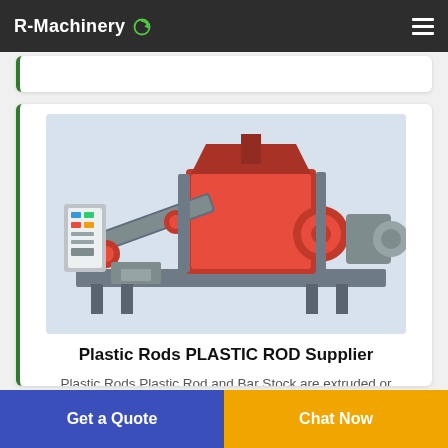R-Machinery
[Figure (illustration): 3D rendered industrial plastic recycling/extrusion machine with red hopper, grey conveyor belt, and control panel on white/light grey background]
Plastic Rods PLASTIC ROD Supplier
Plastic Rods Plastic Rod and Bar Stock are extruded or compression molded in more than 500 different plastic materials for a wide range of applications. Most plastic rods